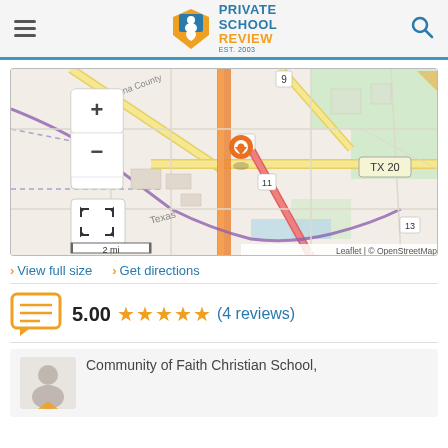Private School Review - EST. 2003
[Figure (map): Street map showing location with orange pin marker near TX 20, showing roads, Doña Ana County label, Texas label, scale of 2 mi. Controls: zoom +/-, fullscreen. Attribution: Leaflet | © OpenStreetMap]
> View full size  > Get directions
5.00 ★★★★★ (4 reviews)
Community of Faith Christian School,